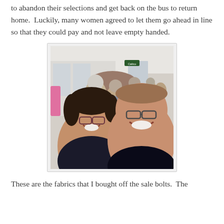to abandon their selections and get back on the bus to return home.  Luckily, many women agreed to let them go ahead in line so that they could pay and not leave empty handed.
[Figure (photo): A selfie of a smiling couple (woman on left with dark hair and glasses, man on right with short hair and glasses) in what appears to be a crowded fabric store or shopping venue. Several older women are visible in the background in a long aisle.]
These are the fabrics that I bought off the sale bolts.  The